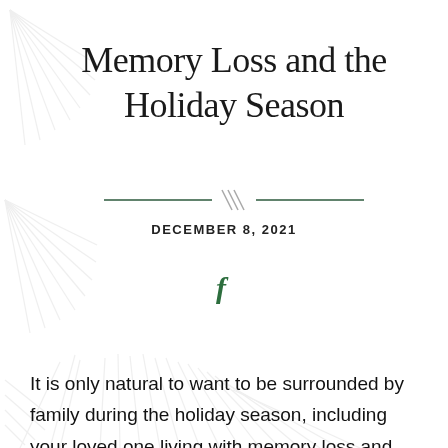Memory Loss and the Holiday Season
DECEMBER 8, 2021
[Figure (illustration): Facebook social icon in green]
It is only natural to want to be surrounded by family during the holiday season, including your loved one living with memory loss and dementia.